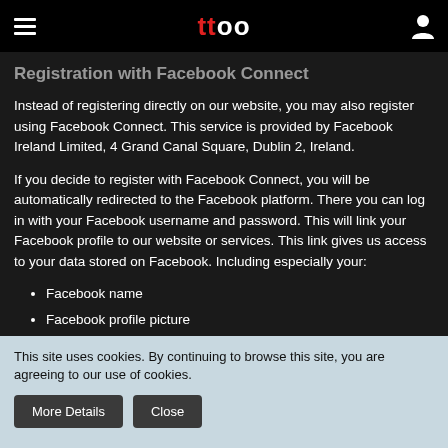ttoo (logo with hamburger menu and user icon)
Registration with Facebook Connect
Instead of registering directly on our website, you may also register using Facebook Connect. This service is provided by Facebook Ireland Limited, 4 Grand Canal Square, Dublin 2, Ireland.
If you decide to register with Facebook Connect, you will be automatically redirected to the Facebook platform. There you can log in with your Facebook username and password. This will link your Facebook profile to our website or services. This link gives us access to your data stored on Facebook. Including especially your:
Facebook name
Facebook profile picture
This site uses cookies. By continuing to browse this site, you are agreeing to our use of cookies.